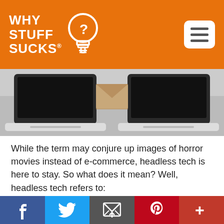WHY STUFF SUCKS®
[Figure (illustration): Two laptops facing each other with a document or envelope being exchanged between them, on a light grey background.]
While the term may conjure up images of horror movies instead of e-commerce, headless tech is here to stay. So what does it mean? Well, headless tech refers to:
Separating your customer-facing storefront from your back-end payment processing and
Facebook | Twitter | Email | Pinterest | More